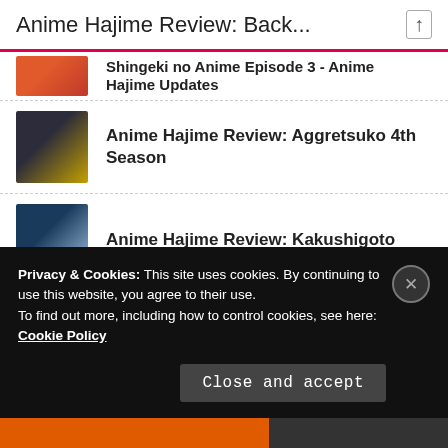Anime Hajime Review: Back...
Shingeki no Anime Episode 3 - Anime Hajime Updates
Anime Hajime Review: Aggretsuko 4th Season
Anime Hajime Review: Kakushigoto
Anime Hajime Review: Irina - The Vampire Cosmonaut
Privacy & Cookies: This site uses cookies. By continuing to use this website, you agree to their use.
To find out more, including how to control cookies, see here: Cookie Policy
Close and accept